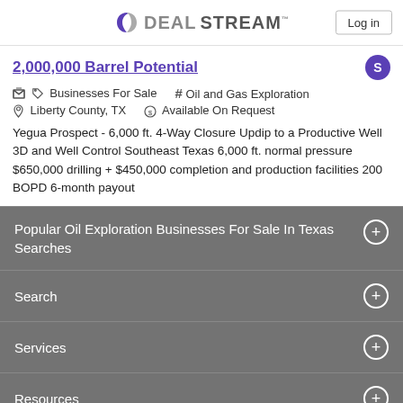DEALSTREAM™  Log in
2,000,000 Barrel Potential
Businesses For Sale  #  Oil and Gas Exploration  Liberty County, TX  Available On Request
Yegua Prospect - 6,000 ft. 4-Way Closure Updip to a Productive Well 3D and Well Control Southeast Texas 6,000 ft. normal pressure $650,000 drilling + $450,000 completion and production facilities 200 BOPD 6-month payout
Popular Oil Exploration Businesses For Sale In Texas Searches
Search
Services
Resources
Company